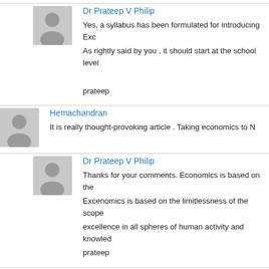[Figure (illustration): Avatar/profile placeholder image for Dr Prateep V Philip (first comment)]
Dr Prateep V Philip
Yes, a syllabus has been formulated for introducing Exc As rightly said by you , it should start at the school level

prateep
[Figure (illustration): Avatar/profile placeholder image for Hemachandran]
Hemachandran
It is really thought-provoking article . Taking economics to N
[Figure (illustration): Avatar/profile placeholder image for Dr Prateep V Philip (second comment)]
Dr Prateep V Philip
Thanks for your comments. Economics is based on the Excenomics is based on the limitlessness of the scope excellence in all spheres of human activity and knowled prateep
[Figure (illustration): Avatar/profile placeholder image for babita pakanati]
babita pakanati